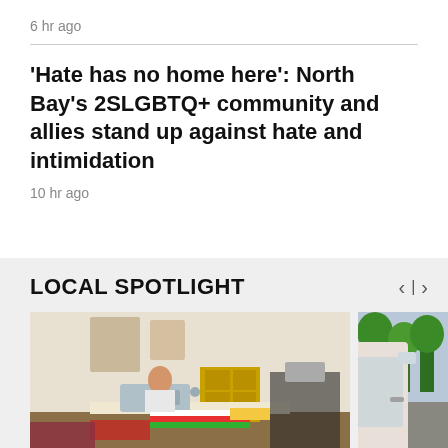6 hr ago
'Hate has no home here': North Bay's 2SLGBTQ+ community and allies stand up against hate and intimidation
10 hr ago
LOCAL SPOTLIGHT
[Figure (photo): Person sitting at a sewing machine working on colorful fabric in a home studio setting]
[Figure (photo): Partial view of a car door and trees in a parking lot]